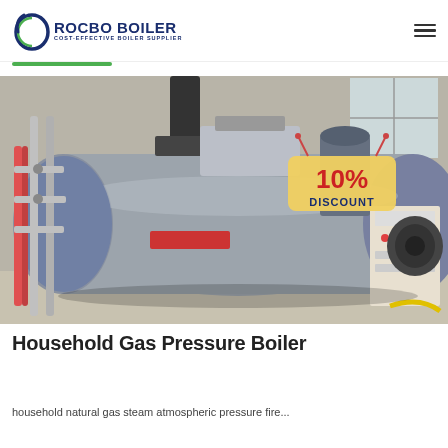ROCBO BOILER — COST-EFFECTIVE BOILER SUPPLIER
[Figure (photo): Industrial gas pressure boiler (horizontal cylindrical steam boiler) in a factory setting, with piping and control panels visible. A '10% DISCOUNT' badge is overlaid on the upper-right of the image.]
Household Gas Pressure Boiler
household natural gas steam atmospheric pressure fire...